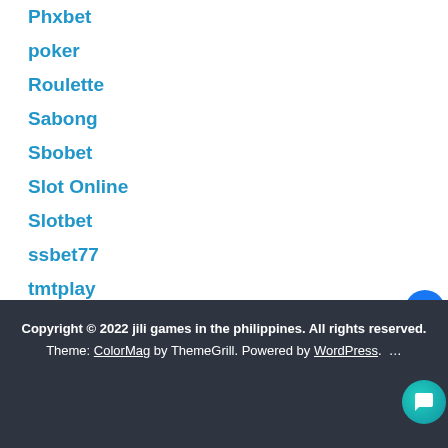Phxbet
poker
Roulette
Sabong
Sbobet
Slot Online
Slotbet
ssbet77
tmtplay
Copyright © 2022 jili games in the philippines. All rights reserved.
Theme: ColorMag by ThemeGrill. Powered by WordPress. …